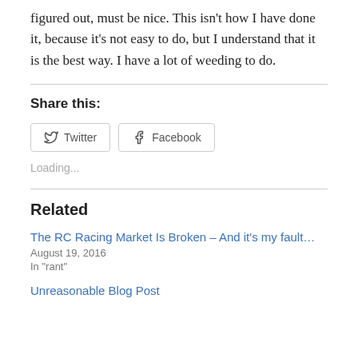figured out, must be nice. This isn't how I have done it, because it's not easy to do, but I understand that it is the best way. I have a lot of weeding to do.
Share this:
Twitter  Facebook
Loading...
Related
The RC Racing Market Is Broken – And it's my fault…
August 19, 2016
In "rant"
Unreasonable Blog Post